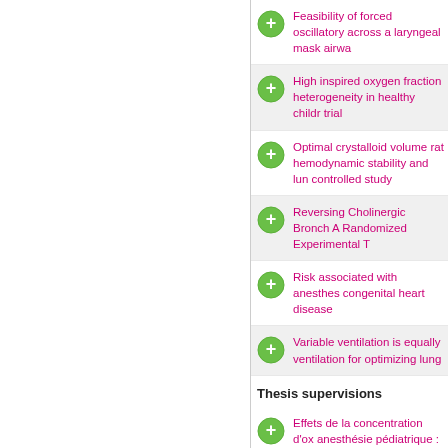Feasibility of forced oscillatory across a laryngeal mask airwa
High inspired oxygen fraction heterogeneity in healthy childr trial
Optimal crystalloid volume rat hemodynamic stability and lun controlled study
Reversing Cholinergic Bronch A Randomized Experimental T
Risk associated with anesthes congenital heart disease
Variable ventilation is equally ventilation for optimizing lung
Thesis supervisions
Effets de la concentration d'ox anesthésie pédiatrique : une é